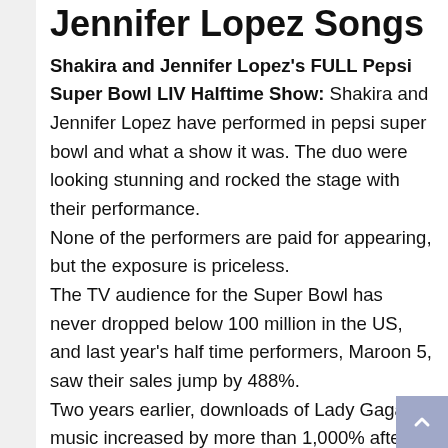Jennifer Lopez Songs
Shakira and Jennifer Lopez's FULL Pepsi Super Bowl LIV Halftime Show: Shakira and Jennifer Lopez have performed in pepsi super bowl and what a show it was. The duo were looking stunning and rocked the stage with their performance.
None of the performers are paid for appearing, but the exposure is priceless.
The TV audience for the Super Bowl has never dropped below 100 million in the US, and last year's half time performers, Maroon 5, saw their sales jump by 488%.
Two years earlier, downloads of Lady Gaga's music increased by more than 1,000% after a 12-minute tour-de-force that began with a stage